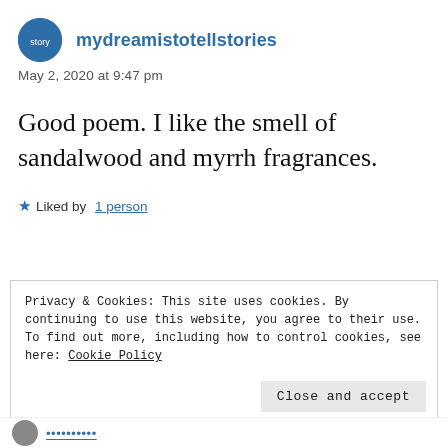mydreamistotellstories
May 2, 2020 at 9:47 pm
Good poem. I like the smell of sandalwood and myrrh fragrances.
★ Liked by 1 person
Privacy & Cookies: This site uses cookies. By continuing to use this website, you agree to their use. To find out more, including how to control cookies, see here: Cookie Policy
Close and accept